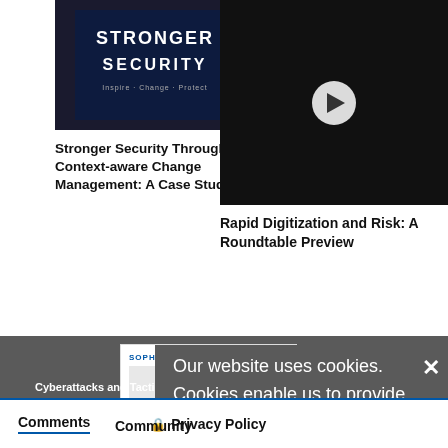[Figure (photo): Stronger Security sign with text 'STRONGER SECURITY' in stylized dark blue design]
Stronger Security Through Context-aware Change Management: A Case Study
[Figure (photo): Man in white shirt on dark background with video play button overlay]
Rapid Digitization and Risk: A Roundtable Preview
[Figure (photo): Sophos thumbnail card with logo and Playbook 2022 label]
Cyberattacks and Tactics Used for Incident Response During 2021
Our website uses cookies. Cookies enable us to provide the best experience possible and help us understand how visitors use our website. By browsing bankinfosecurity.asia, you agree to our use of cookies.
Comments Community
Privacy Policy